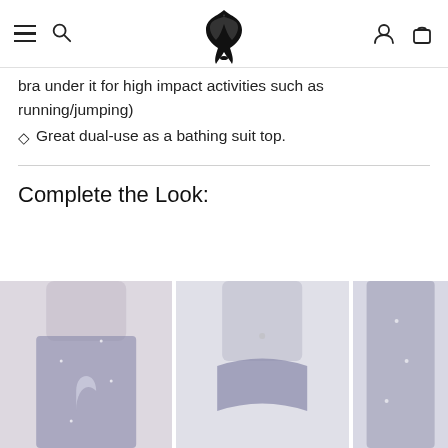Navigation header with menu, search, logo, account and cart icons
bra under it for high impact activities such as running/jumping)
Great dual-use as a bathing suit top.
Complete the Look:
[Figure (photo): Three product photos showing coordinating activewear: leggings with moon print, briefs/bikini bottom, and shorts/leggings with sparkle pattern]
[Figure (photo): Model wearing navy sparkle bikini briefs]
[Figure (photo): Model wearing navy sparkle leggings/shorts]